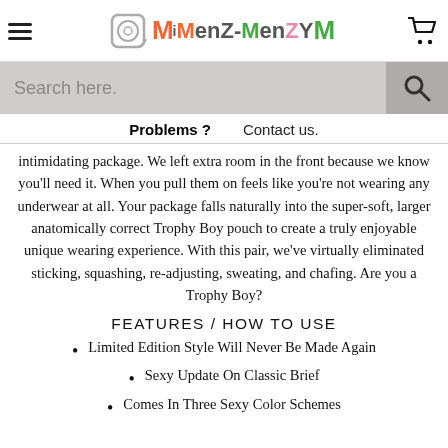MenZ-MenZY (logo header with hamburger menu and cart)
Search here.
Problems ?   Contact us.
intimidating package. We left extra room in the front because we know you'll need it. When you pull them on feels like you're not wearing any underwear at all. Your package falls naturally into the super-soft, larger anatomically correct Trophy Boy pouch to create a truly enjoyable unique wearing experience. With this pair, we've virtually eliminated sticking, squashing, re-adjusting, sweating, and chafing. Are you a Trophy Boy?
FEATURES / HOW TO USE
Limited Edition Style Will Never Be Made Again
Sexy Update On Classic Brief
Comes In Three Sexy Color Schemes